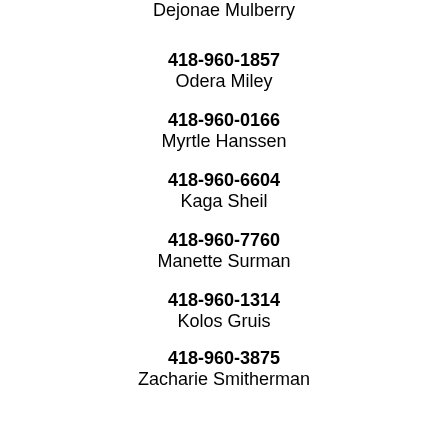Dejonae Mulberry
418-960-1857
Odera Miley
418-960-0166
Myrtle Hanssen
418-960-6604
Kaga Sheil
418-960-7760
Manette Surman
418-960-1314
Kolos Gruis
418-960-3875
Zacharie Smitherman
418-960-6644
Bodine Lanzi
418-960-7811
Hasaun Schnee